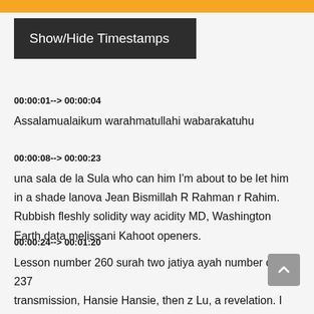Show/Hide Timestamps
00:00:01--> 00:00:04
Assalamualaikum warahmatullahi wabarakatuhu
00:00:08--> 00:00:23
una sala de la Sula who can him I'm about to be let him in a shade lanova Jean Bismillah R Rahman r Rahim. Rubbish fleshly solidity way acidity MD, Washington Earth data melissani Kahoot openers.
00:00:24--> 00:01:20
Lesson number 260 surah two jatiya ayah number one 237 transmission, Hansie Hansie, then z Lu, a revelation. I kita. After work